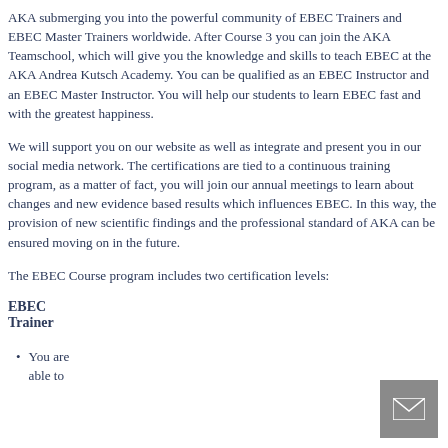AKA submerging you into the powerful community of EBEC Trainers and EBEC Master Trainers worldwide. After Course 3 you can join the AKA Teamschool, which will give you the knowledge and skills to teach EBEC at the AKA Andrea Kutsch Academy. You can be qualified as an EBEC Instructor and an EBEC Master Instructor. You will help our students to learn EBEC fast and with the greatest happiness.
We will support you on our website as well as integrate and present you in our social media network. The certifications are tied to a continuous training program, as a matter of fact, you will join our annual meetings to learn about changes and new evidence based results which influences EBEC. In this way, the provision of new scientific findings and the professional standard of AKA can be ensured moving on in the future.
The EBEC Course program includes two certification levels:
EBEC Trainer
You are able to